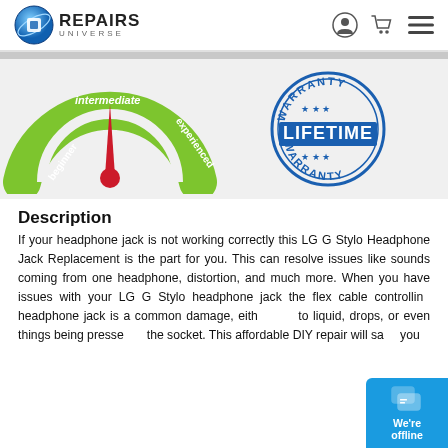Repairs Universe
[Figure (infographic): Difficulty gauge meter showing needle pointing to 'intermediate', with labels: beginner, intermediate, experienced on a green semicircle gauge]
[Figure (infographic): Circular stamp badge reading WARRANTY LIFETIME WARRANTY in blue with stars]
Description
If your headphone jack is not working correctly this LG G Stylo Headphone Jack Replacement is the part for you. This can resolve issues like sounds coming from one headphone, distortion, and much more. When you have issues with your LG G Stylo headphone jack the flex cable controlling headphone jack is a common damage, either to liquid, drops, or even things being pressed the socket. This affordable DIY repair will save you